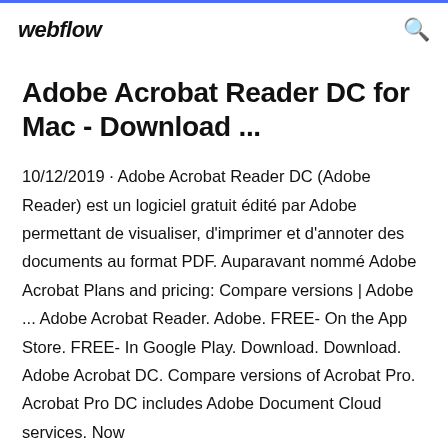webflow
Adobe Acrobat Reader DC for Mac - Download ...
10/12/2019 · Adobe Acrobat Reader DC (Adobe Reader) est un logiciel gratuit édité par Adobe permettant de visualiser, d'imprimer et d'annoter des documents au format PDF. Auparavant nommé Adobe Acrobat Plans and pricing: Compare versions | Adobe ... Adobe Acrobat Reader. Adobe. FREE- On the App Store. FREE- In Google Play. Download. Download. Adobe Acrobat DC. Compare versions of Acrobat Pro. Acrobat Pro DC includes Adobe Document Cloud services. Now